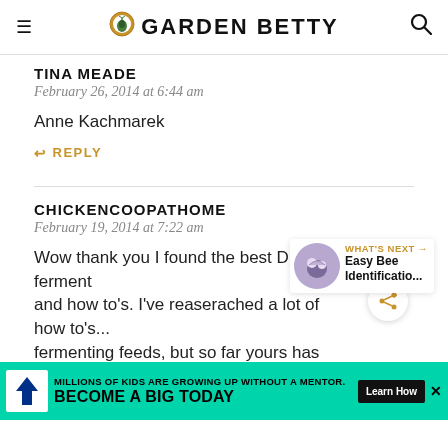GARDEN BETTY
TINA MEADE
February 26, 2014 at 6:44 am
Anne Kachmarek
REPLY
CHICKENCOOPATHOME
February 19, 2014 at 7:22 am
Wow thank you I found the best DIY ferment and how to's. I've reaserached a lot of how to's... fermenting feeds, but so far yours has been the most eas
[Figure (screenshot): What's Next overlay with bee image and text 'Easy Bee Identificatio...']
[Figure (screenshot): Advertisement banner: Big Brothers Big Sisters - MILLIONS OF KIDS ARE GROWING UP WITHOUT A MENTOR. BECOME A BIG TODAY. Learn How.]